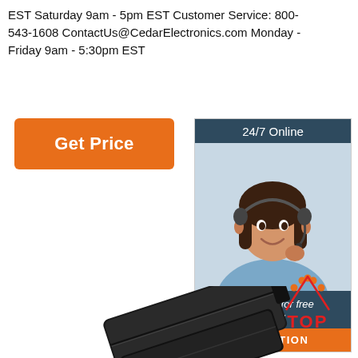EST Saturday 9am - 5pm EST Customer Service: 800-543-1608 ContactUs@CedarElectronics.com Monday - Friday 9am - 5:30pm EST
[Figure (other): Orange 'Get Price' button]
[Figure (other): Customer service chat widget with '24/7 Online' header, photo of smiling woman with headset, 'Click here for free chat!' text, and orange QUOTATION button]
[Figure (photo): Black electronic device/battery pack product photo]
[Figure (logo): Orange and red 'TOP' badge with dots arranged in arc above text]